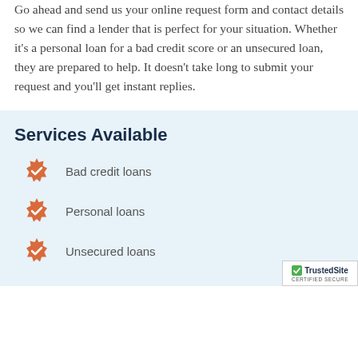Go ahead and send us your online request form and contact details so we can find a lender that is perfect for your situation. Whether it's a personal loan for a bad credit score or an unsecured loan, they are prepared to help. It doesn't take long to submit your request and you'll get instant replies.
Services Available
Bad credit loans
Personal loans
Unsecured loans
[Figure (logo): TrustedSite CERTIFIED SECURE badge]